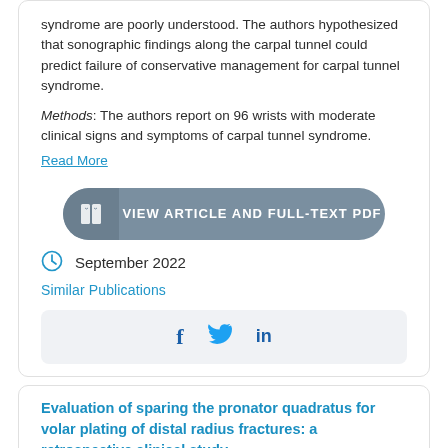syndrome are poorly understood. The authors hypothesized that sonographic findings along the carpal tunnel could predict failure of conservative management for carpal tunnel syndrome.
Methods: The authors report on 96 wrists with moderate clinical signs and symptoms of carpal tunnel syndrome.
Read More
[Figure (other): Button: VIEW ARTICLE AND FULL-TEXT PDF with book icon]
September 2022
Similar Publications
[Figure (other): Social share icons: Facebook, Twitter, LinkedIn]
Evaluation of sparing the pronator quadratus for volar plating of distal radius fractures: a retrospective clinical study